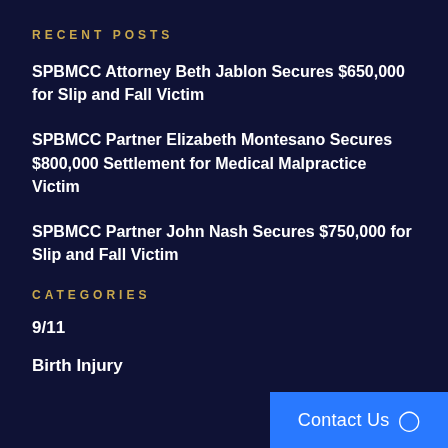RECENT POSTS
SPBMCC Attorney Beth Jablon Secures $650,000 for Slip and Fall Victim
SPBMCC Partner Elizabeth Montesano Secures $800,000 Settlement for Medical Malpractice Victim
SPBMCC Partner John Nash Secures $750,000 for Slip and Fall Victim
CATEGORIES
9/11
Birth Injury
Contact Us